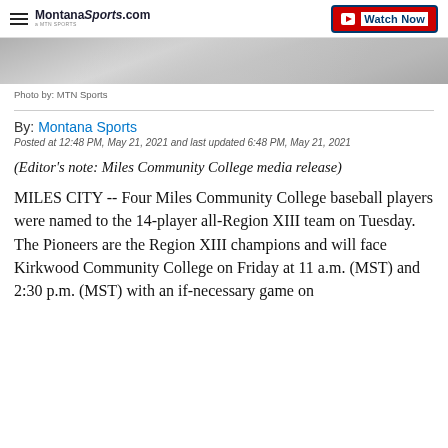MontanaSports.com | Watch Now
[Figure (photo): Partial cropped sports photo with grey/silver tones at top of page]
Photo by: MTN Sports
By: Montana Sports
Posted at 12:48 PM, May 21, 2021 and last updated 6:48 PM, May 21, 2021
(Editor's note: Miles Community College media release)
MILES CITY -- Four Miles Community College baseball players were named to the 14-player all-Region XIII team on Tuesday. The Pioneers are the Region XIII champions and will face Kirkwood Community College on Friday at 11 a.m. (MST) and 2:30 p.m. (MST) with an if-necessary game on